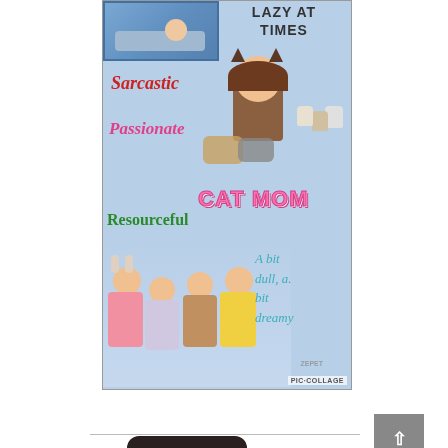[Figure (illustration): A personal collage/infographic with cartoon avatar illustrations. Top section shows a cartoon avatar lying in bed with text 'LAZY AT TIMES', then traits listed: 'Sarcastic' in red italic, 'Passionate' in pink italic, 'Resourceful' in green, alongside a cartoon cat mom avatar holding cats with 'CAT MOM' in pink bubbly letters. Bottom section shows four cartoon girl avatars standing together with handwritten teal text 'A bit dull, a bit dreamy'. Watermark 'PIC·COLLAGE' in bottom right. Background is light blue.]
[Figure (illustration): Partial view of another illustration at the very bottom of the page, showing the top of a head with dark hair.]